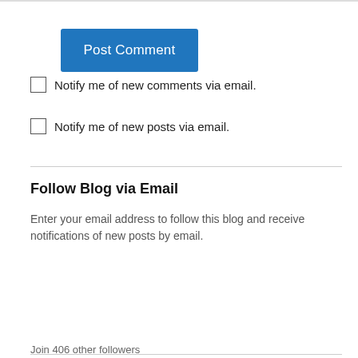[Figure (screenshot): Blue 'Post Comment' button]
Notify me of new comments via email.
Notify me of new posts via email.
Follow Blog via Email
Enter your email address to follow this blog and receive notifications of new posts by email.
[Figure (screenshot): Email input field with placeholder 'Enter your email address']
[Figure (screenshot): Follow button with rounded pill border]
Join 406 other followers